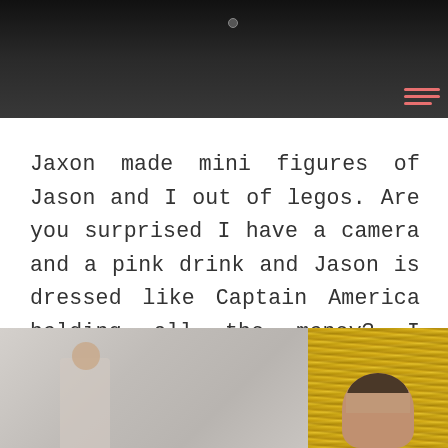[Figure (photo): Top portion of a photo showing people, dark clothing visible against dark background]
Jaxon made mini figures of Jason and I out of legos. Are you surprised I have a camera and a pink drink and Jason is dressed like Captain America holding all the money? I think Jaxon hit the nail on the head with that one!
[Figure (photo): Bottom left photo showing a person in an indoor setting with light background]
[Figure (photo): Bottom right photo showing a man in front of a gold/yellow tinsel curtain backdrop]